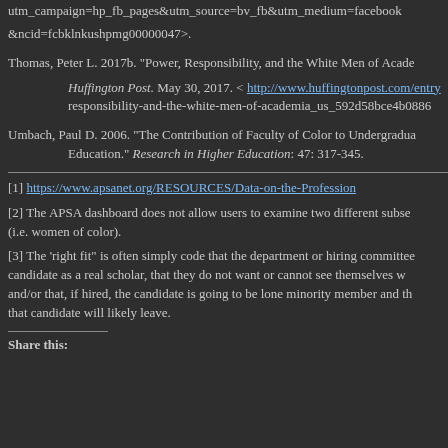utm_campaign=hp_fb_pages&utm_source=bv_fb&utm_medium=facebook
&ncid=fcbklnkushpmg00000047>.
Thomas, Peter L. 2017b. “Power, Responsibility, and the White Men of Acade… Huffington Post. May 30, 2017. < http://www.huffingtonpost.com/entry… responsibility-and-the-white-men-of-academia_us_592d58bce4b0886…
Umbach, Paul D. 2006. “The Contribution of Faculty of Color to Undergradua… Education.” Research in Higher Education: 47: 317-345.
[1] https://www.apsanet.org/RESOURCES/Data-on-the-Profession
[2] The APSA dashboard does not allow users to examine two different subse… (i.e. women of color).
[3] The ‘right fit” is often simply code that the department or hiring committee… candidate as a real scholar, that they do not want or cannot see themselves w… and/or that, if hired, the candidate is going to be lone minority member and th… that candidate will likely leave.
Share this: